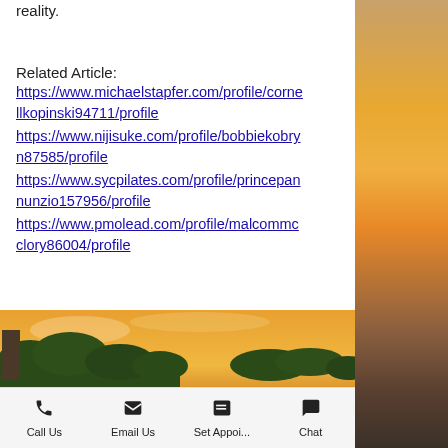reality.
Related Article:
https://www.michaelstapfer.com/profile/cornellkopinski94711/profile
https://www.nijisuke.com/profile/bobbiekobryn87585/profile
https://www.sycpilates.com/profile/princepannunzio157956/profile
https://www.pmolead.com/profile/malcommcclory86004/profile
[Figure (photo): Aerial or elevated view of a waterway with trees and buildings at sunset, with a dark horizontal bar overlay at the bottom]
Call Us   Email Us   Set Appoi...   Chat